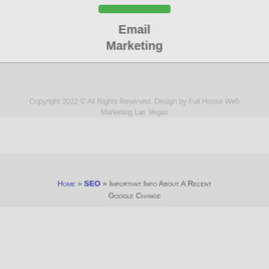Email Marketing
Copyright 2022 © All Rights Reserved. Design by Full House Web Marketing Las Vegas
Home » SEO » Important Info About A Recent Google Change